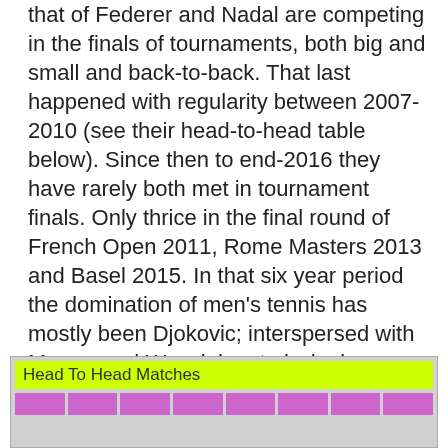that of Federer and Nadal are competing in the finals of tournaments, both big and small and back-to-back. That last happened with regularity between 2007-2010 (see their head-to-head table below). Since then to end-2016 they have rarely both met in tournament finals. Only thrice in the final round of French Open 2011, Rome Masters 2013 and Basel 2015. In that six year period the domination of men's tennis has mostly been Djokovic; interspersed with Murray and Warwinka et al winning.
Throughout 2016 there was a changing of guards in the top flight of mens tennis. A year which incredibly saw our own British Murray become world number one; taking the spot from long-reigning new King of tennis from Serbia, Djokovic.
| Head To Head Matches |
| --- |